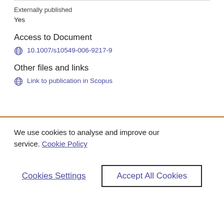Externally published
Yes
Access to Document
10.1007/s10549-006-9217-9
Other files and links
Link to publication in Scopus
We use cookies to analyse and improve our service. Cookie Policy
Cookies Settings
Accept All Cookies